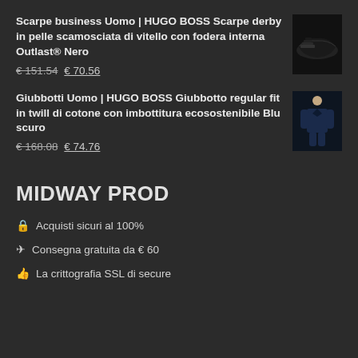Scarpe business Uomo | HUGO BOSS Scarpe derby in pelle scamosciata di vitello con fodera interna Outlast® Nero
€ 151.54  € 70.56
Giubbotti Uomo | HUGO BOSS Giubbotto regular fit in twill di cotone con imbottitura ecosostenibile Blu scuro
€ 168.08  € 74.76
MIDWAY PROD
🔒 Acquisti sicuri al 100%
✈ Consegna gratuita da € 60
👍 La crittografia SSL di secure